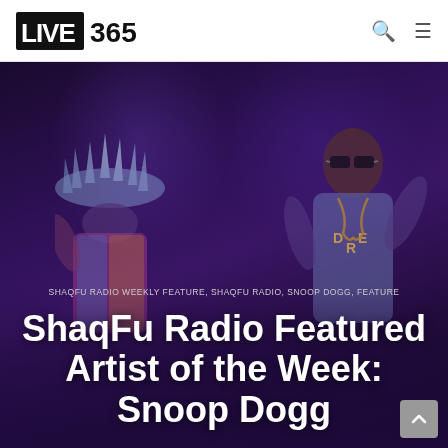LIVE 365
[Figure (photo): Concert photo of two performers on stage — one wearing a spiked crystal/ice crown costume, the other (Snoop Dogg) wearing sunglasses and a hoodie with arms raised, in a purple-lit arena setting]
SHAQFU RADIO WEEKLY FEATURE, SHAQFU RADIO, SNOOP DOGG, FEATURE
ShaqFu Radio Featured Artist of the Week: Snoop Dogg